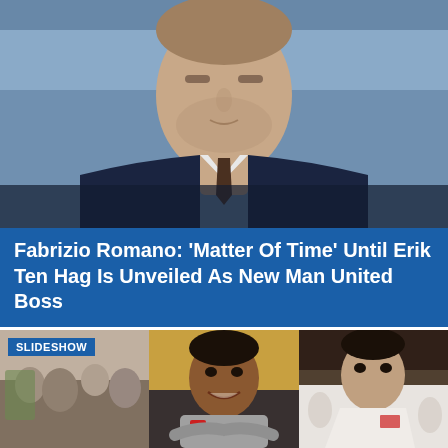[Figure (photo): Photo of Erik ten Hag, a man in a dark navy suit with a brown tie, looking forward against a blurred stadium background]
Fabrizio Romano: 'Matter Of Time' Until Erik Ten Hag Is Unveiled As New Man United Boss
[Figure (photo): Slideshow of three photos showing football players/people at what appears to be Mecca/Hajj pilgrimage. Left panel shows crowd scene, center shows Mohamed Salah smiling, right shows Mesut Ozil in white ihram clothing]